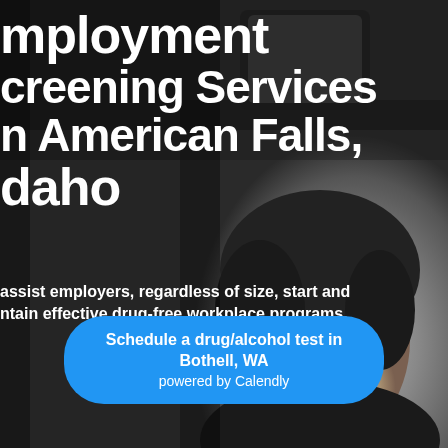[Figure (photo): Background photo of a woman with curly dark hair smiling, sitting inside a vehicle. Car interior including rearview mirror visible. Black and white / grayscale tone.]
Employment Screening Services in American Falls, Idaho
assist employers, regardless of size, start and ntain effective drug-free workplace programs.
FMSCA Training
Schedule a drug/alcohol test in Bothell, WA
powered by Calendly